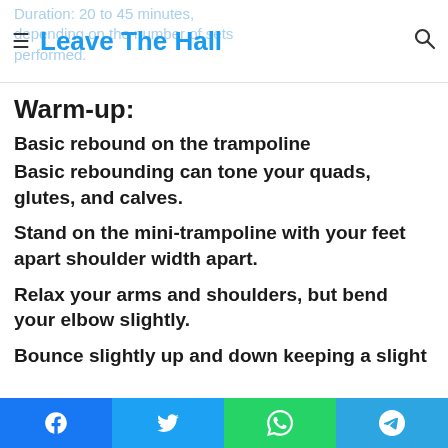Leave The Hall
Warm-up:
Basic rebound on the trampoline
Basic rebounding can tone your quads, glutes, and calves.
Stand on the mini-trampoline with your feet apart shoulder width apart.
Relax your arms and shoulders, but bend your elbow slightly.
Bounce slightly up and down keeping a slight